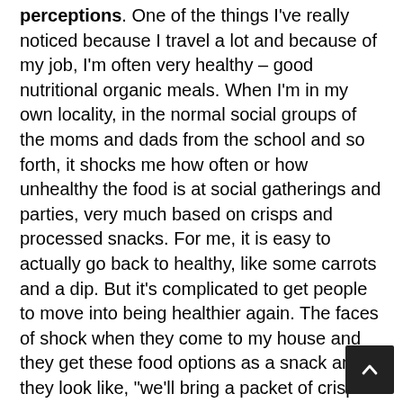... it's about changing awareness, changing perceptions. One of the things I've really noticed because I travel a lot and because of my job, I'm often very healthy – good nutritional organic meals. When I'm in my own locality, in the normal social groups of the moms and dads from the school and so forth, it shocks me how often or how unhealthy the food is at social gatherings and parties, very much based on crisps and processed snacks. For me, it is easy to actually go back to healthy, like some carrots and a dip. But it's complicated to get people to move into being healthier again. The faces of shock when they come to my house and they get these food options as a snack and they look like, "we'll bring a packet of crisps next time we go to Diane's house".